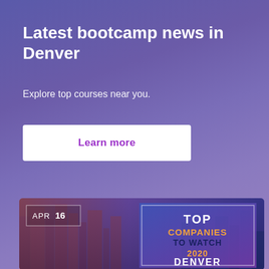Latest bootcamp news in Denver
Explore top courses near you.
Learn more
[Figure (photo): City skyline image with 'TOP COMPANIES TO WATCH 2020 DENVER' overlay badge and APR 16 date badge in top left corner]